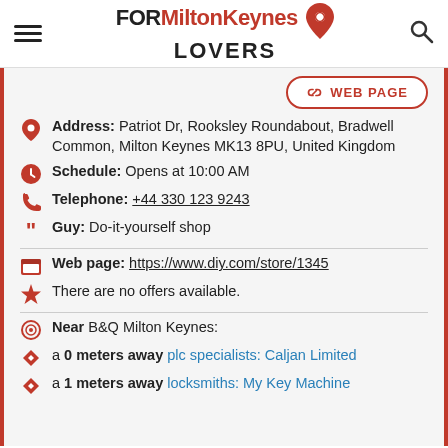FOR Milton Keynes LOVERS
WEB PAGE
Address: Patriot Dr, Rooksley Roundabout, Bradwell Common, Milton Keynes MK13 8PU, United Kingdom
Schedule: Opens at 10:00 AM
Telephone: +44 330 123 9243
Guy: Do-it-yourself shop
Web page: https://www.diy.com/store/1345
There are no offers available.
Near B&Q Milton Keynes:
a 0 meters away plc specialists: Caljan Limited
a 1 meters away locksmiths: My Key Machine